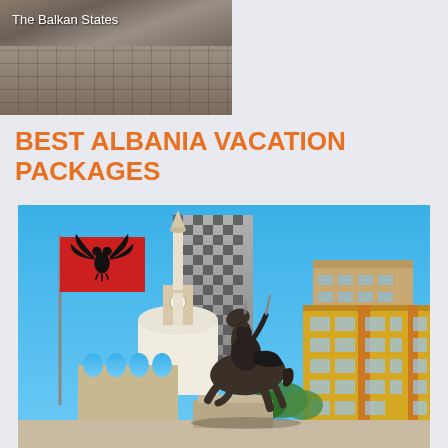[Figure (photo): Top image showing cobblestone street/plaza in the Balkan States with text overlay 'The Balkan States']
BEST ALBANIA VACATION PACKAGES
[Figure (photo): Photo of Skanderbeg Square in Tirana, Albania, showing the equestrian statue of Skanderbeg in the foreground with a red Albanian flag waving to the left, a mosque minaret and the checkerboard-patterned TID Tower in the background, and yellow buildings on the right side under a blue sky]